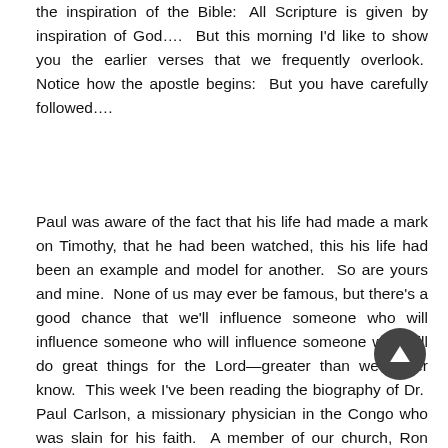the inspiration of the Bible: All Scripture is given by inspiration of God…. But this morning I'd like to show you the earlier verses that we frequently overlook. Notice how the apostle begins: But you have carefully followed….
Paul was aware of the fact that his life had made a mark on Timothy, that he had been watched, this his life had been an example and model for another. So are yours and mine. None of us may ever be famous, but there's a good chance that we'll influence someone who will influence someone who will influence someone who will do great things for the Lord—greater than we'll ever know. This week I've been reading the biography of Dr. Paul Carlson, a missionary physician in the Congo who was slain for his faith. A member of our church, Ron Meyers, worked for many years in Congo and was a colleague of Dr. Carlson's. Well, the death of Paul Carlson had a profound influence around the world. He was only [yrs] old, but God greatly used his murder to advance the [cause] of Christ in Africa. The thing that struck me, however, as I read his biography is the influence that others had previously had